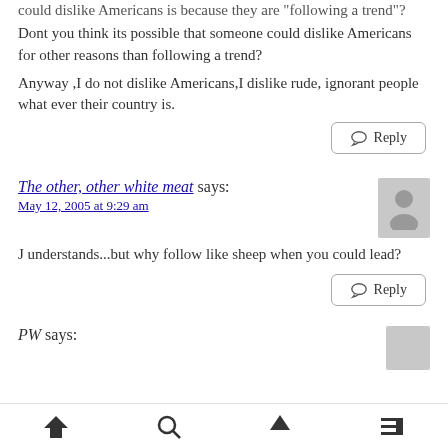could dislike Americans is because they are "following a trend"? Dont you think its possible that someone could dislike Americans for other reasons than following a trend? Anyway ,I do not dislike Americans,I dislike rude, ignorant people what ever their country is.
Reply
The other, other white meat says:
May 12, 2005 at 9:29 am
J understands...but why follow like sheep when you could lead?
Reply
PW says: